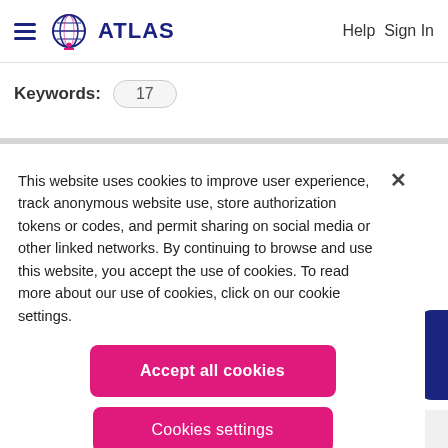ATLAS   Help Sign In
Keywords: 17
This website uses cookies to improve user experience, track anonymous website use, store authorization tokens or codes, and permit sharing on social media or other linked networks. By continuing to browse and use this website, you accept the use of cookies. To read more about our use of cookies, click on our cookie settings.
Accept all cookies
Cookies settings